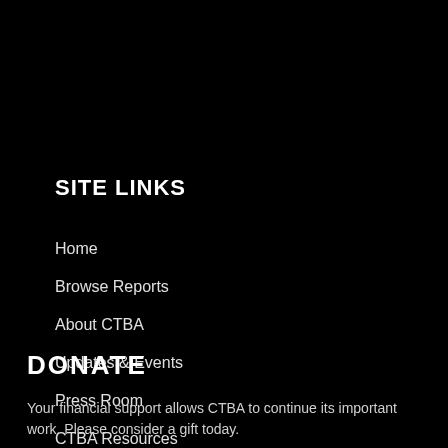SITE LINKS
Home
Browse Reports
About CTBA
Updates & Events
Press Room
CTBA Resources
Contact Us
DONATE
Your financial support allows CTBA to continue its important work. Please consider a gift today.